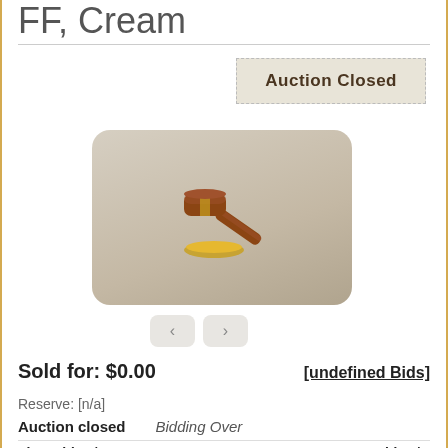FF, Cream
Auction Closed
[Figure (illustration): Auction gavel and sound block icon on a beige/tan rounded square background]
Sold for: $0.00
[undefined Bids]
Reserve: [n/a]
Auction closed   Bidding Over
First Bid: N/A   Last Bid: N/A